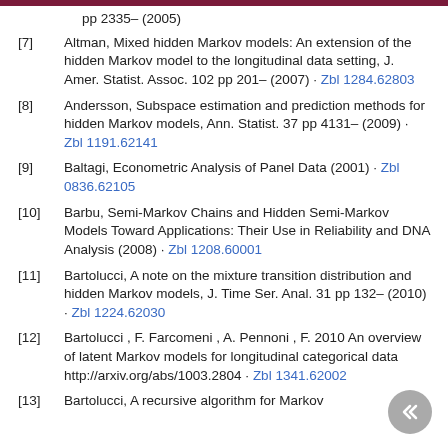pp 2335– (2005)
[7] Altman, Mixed hidden Markov models: An extension of the hidden Markov model to the longitudinal data setting, J. Amer. Statist. Assoc. 102 pp 201– (2007) · Zbl 1284.62803
[8] Andersson, Subspace estimation and prediction methods for hidden Markov models, Ann. Statist. 37 pp 4131– (2009) · Zbl 1191.62141
[9] Baltagi, Econometric Analysis of Panel Data (2001) · Zbl 0836.62105
[10] Barbu, Semi-Markov Chains and Hidden Semi-Markov Models Toward Applications: Their Use in Reliability and DNA Analysis (2008) · Zbl 1208.60001
[11] Bartolucci, A note on the mixture transition distribution and hidden Markov models, J. Time Ser. Anal. 31 pp 132– (2010) · Zbl 1224.62030
[12] Bartolucci , F. Farcomeni , A. Pennoni , F. 2010 An overview of latent Markov models for longitudinal categorical data http://arxiv.org/abs/1003.2804 · Zbl 1341.62002
[13] Bartolucci, A recursive algorithm for Markov